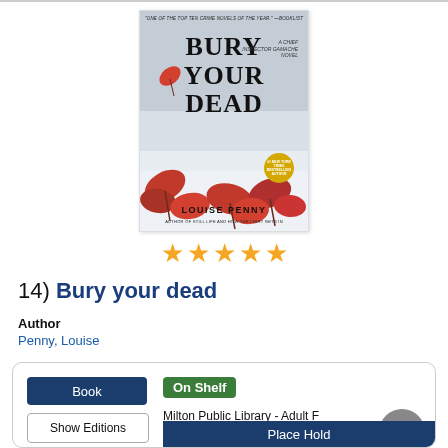[Figure (photo): Book cover of 'Bury Your Dead' by Louise Penny, showing red maple leaves on snow, with a gold bestseller badge.]
[Figure (other): Five gold star rating icons]
14) Bury your dead
Author
Penny, Louise
Book
Show Editions
On Shelf
Milton Public Library - Adult F
available
F PEN
Where is it?
Place Hold